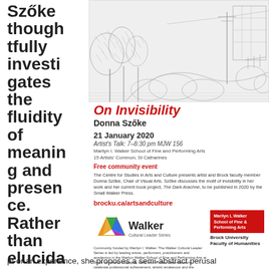Szőke thoughtfully investigates the fluidity of meaning and presence. Rather than elucidating a concept or an experience, she proposes a semi-abstract perusal
[Figure (illustration): Black and white pen-and-ink illustration of an urban/suburban outdoor scene with trees, buildings, and a road]
On Invisibility
Donna Szőke
21 January 2020
Artist's Talk: 7–8:30 pm MJW 156
Marilyn I. Walker School of Fine and Performing Arts
15 Artists' Common, St Catharines
Free community event
The Centre for Studies in Arts and Culture presents artist and Brock faculty member Donna Szőke, Chair of Visual Arts. Szőke discusses the motif of invisibility in her work and her current book project, The Dark Arachne, to be published in 2020 by the Small Walker Press.
brocku.ca/artsandculture
[Figure (logo): Walker Cultural Leader Series logo with colourful W triangle motif]
Community funded by Marilyn I. Walker. The Walker Cultural Leader Series is led by leading artists, performers, practitioners and academics in the Marilyn Walker School of Fine and Performing Arts at Brock University. Engaging, lively and erudite, these sessions celebrate professional achievement, artistic endeavour and the transformative influence of culture in our society. Please join us.
[Figure (logo): Marilyn L Walker School of Fine & Performing Arts red box logo, Brock University Faculty of Humanities]